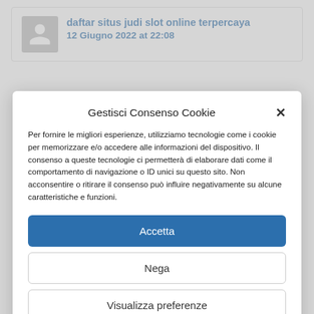daftar situs judi slot online terpercaya
12 Giugno 2022 at 22:08
Gestisci Consenso Cookie
Per fornire le migliori esperienze, utilizziamo tecnologie come i cookie per memorizzare e/o accedere alle informazioni del dispositivo. Il consenso a queste tecnologie ci permetterà di elaborare dati come il comportamento di navigazione o ID unici su questo sito. Non acconsentire o ritirare il consenso può influire negativamente su alcune caratteristiche e funzioni.
Accetta
Nega
Visualizza preferenze
Cookie Policy  Privacy Policy